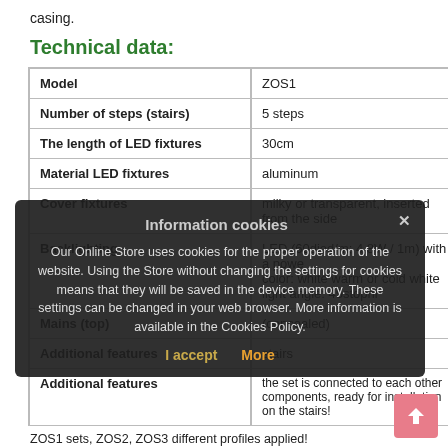casing.
Technical data:
|  |  |
| --- | --- |
| Model | ZOS1 |
| Number of steps (stairs) | 5 steps |
| The length of LED fixtures | 30cm |
| Material LED fixtures | aluminum |
| Cover fixtures | milky or transparent, inserted from the side |
| Backlighting | LED (60diod/m; 4,8W / 1m) with a power
color: white warm or cold white
light angle: 45stopni |
| Mains (top) | (concealed) |
| Additional features | stairs |
| Additional features | the set is connected to each other components, ready for installation on the stairs! |
ZOS1 sets, ZOS2, ZOS3 different profiles applied!